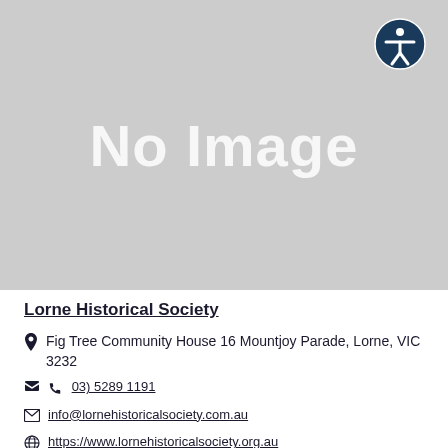[Figure (other): Gray placeholder image with text 'No Image' and an accessibility icon (white figure in dark blue circle) in the top right corner]
Lorne Historical Society
Fig Tree Community House 16 Mountjoy Parade, Lorne, VIC 3232
03) 5289 1191
info@lornehistoricalsociety.com.au
https://www.lornehistoricalsociety.org.au